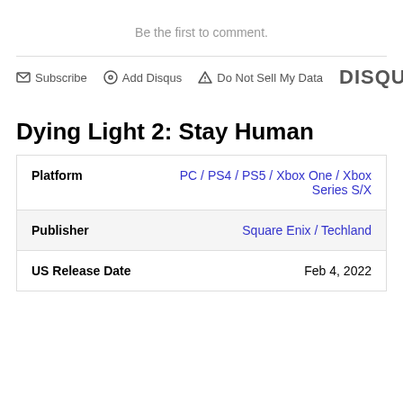Be the first to comment.
Subscribe   Add Disqus   Do Not Sell My Data   DISQUS
Dying Light 2: Stay Human
| Platform | PC / PS4 / PS5 / Xbox One / Xbox Series S/X |
| Publisher | Square Enix / Techland |
| US Release Date | Feb 4, 2022 |